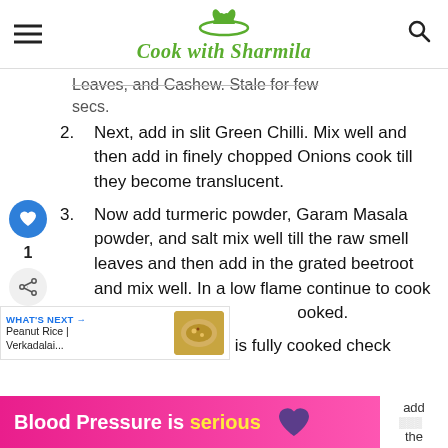Cook with Sharmila
Leaves, and Cashew. Stale for few secs.
2. Next, add in slit Green Chilli. Mix well and then add in finely chopped Onions cook till they become translucent.
3. Now add turmeric powder, Garam Masala powder, and salt mix well till the raw smell leaves and then add in the grated beetroot and mix well. In a low flame continue to cook till the beetroot is cooked.
4. Once the beetroot is fully cooked check
WHAT'S NEXT → Peanut Rice | Verkadalai...
Blood Pressure is serious